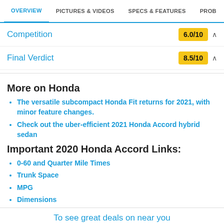OVERVIEW | PICTURES & VIDEOS | SPECS & FEATURES | PROB
Competition
Final Verdict
More on Honda
The versatile subcompact Honda Fit returns for 2021, with minor feature changes.
Check out the uber-efficient 2021 Honda Accord hybrid sedan
Important 2020 Honda Accord Links:
0-60 and Quarter Mile Times
Trunk Space
MPG
Dimensions
To see great deals on near you